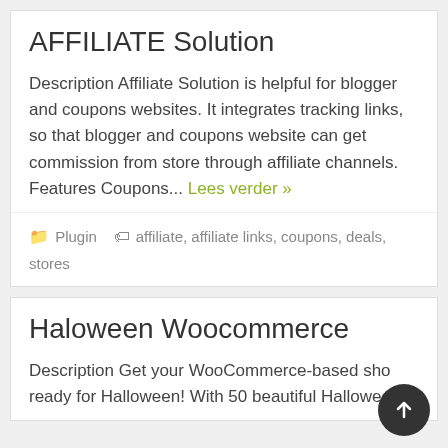AFFILIATE Solution
Description Affiliate Solution is helpful for blogger and coupons websites. It integrates tracking links, so that blogger and coupons website can get commission from store through affiliate channels. Features Coupons... Lees verder »
Plugin  affiliate, affiliate links, coupons, deals, stores
Haloween Woocommerce
Description Get your WooCommerce-based sho ready for Halloween! With 50 beautiful Halloween